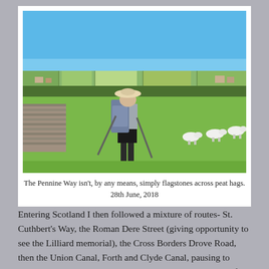[Figure (photo): A hiker with a large backpack and trekking poles stands on a grassy hillside looking out over a rolling countryside with fields, trees, sheep grazing, and a clear blue sky. A dry stone wall is visible on the left.]
The Pennine Way isn't, by any means, simply flagstones across peat hags. 28th June, 2018
Entering Scotland I then followed a mixture of routes- St. Cuthbert's Way, the Roman Dere Street (giving opportunity to see the Lilliard memorial), the Cross Borders Drove Road, then the Union Canal, Forth and Clyde Canal, pausing to admire the Falkirk Wheel and the best preserved section of the Antonine Wall, eventually joining up with the West